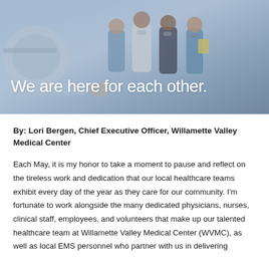[Figure (photo): Hero banner image of healthcare workers in a medical setting wearing masks, with text overlay reading 'We are here for each other.']
By: Lori Bergen, Chief Executive Officer, Willamette Valley Medical Center
Each May, it is my honor to take a moment to pause and reflect on the tireless work and dedication that our local healthcare teams exhibit every day of the year as they care for our community. I'm fortunate to work alongside the many dedicated physicians, nurses, clinical staff, employees, and volunteers that make up our talented healthcare team at Willamette Valley Medical Center (WVMC), as well as local EMS personnel who partner with us in delivering